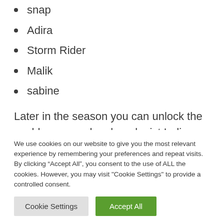snap
Adira
Storm Rider
Malik
sabine
Later in the season you can unlock the world-renowned archaeologist Indiana Jones in the Battle Pass.
We use cookies on our website to give you the most relevant experience by remembering your preferences and repeat visits. By clicking “Accept All”, you consent to the use of ALL the cookies. However, you may visit "Cookie Settings" to provide a controlled consent.